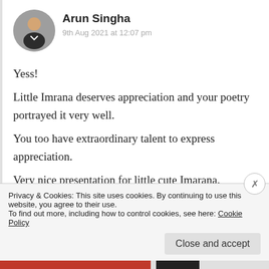[Figure (photo): Circular avatar photo of Arun Singha, a man in a dark suit]
Arun Singha
9th Aug 2021 at 12:07 pm
Yess!

Little Imrana deserves appreciation and your poetry portrayed it very well.
You too have extraordinary talent to express appreciation.
Very nice presentation for little cute Imarana.
I have read her poetries.
Privacy & Cookies: This site uses cookies. By continuing to use this website, you agree to their use.
To find out more, including how to control cookies, see here: Cookie Policy
Close and accept